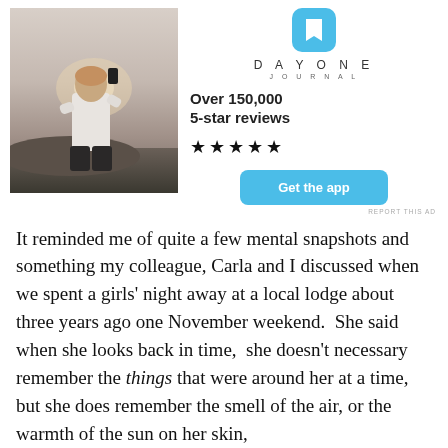[Figure (photo): Advertisement for Day One Journal app. Left side shows a photo of a person sitting outdoors on rocks, back to camera, holding a phone up against a sunset sky. Right side shows Day One Journal logo with bookmark icon, text 'Over 150,000 5-star reviews', five stars, and a blue 'Get the app' button.]
It reminded me of quite a few mental snapshots and something my colleague, Carla and I discussed when we spent a girls' night away at a local lodge about three years ago one November weekend.  She said when she looks back in time,  she doesn't necessary remember the things that were around her at a time, but she does remember the smell of the air, or the warmth of the sun on her skin,